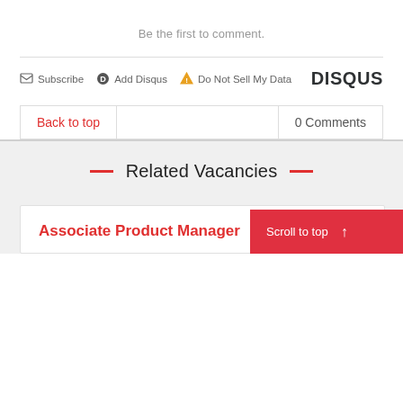Be the first to comment.
Subscribe   Add Disqus   Do Not Sell My Data   DISQUS
Back to top
0 Comments
Related Vacancies
Scroll to top ↑
Associate Product Manager